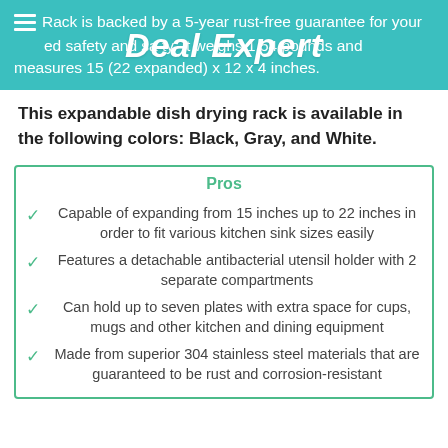Rack is backed by a 5-year rust-free guarantee for your peace of mind for added safety and safety. It weighs 1.54 pounds and measures 15 (22 expanded) x 12 x 4 inches.
This expandable dish drying rack is available in the following colors: Black, Gray, and White.
Pros
Capable of expanding from 15 inches up to 22 inches in order to fit various kitchen sink sizes easily
Features a detachable antibacterial utensil holder with 2 separate compartments
Can hold up to seven plates with extra space for cups, mugs and other kitchen and dining equipment
Made from superior 304 stainless steel materials that are guaranteed to be rust and corrosion-resistant